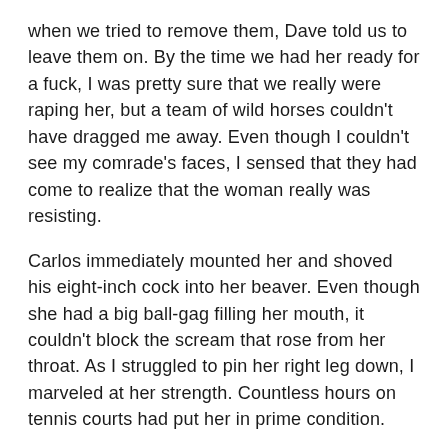when we tried to remove them, Dave told us to leave them on. By the time we had her ready for a fuck, I was pretty sure that we really were raping her, but a team of wild horses couldn’t have dragged me away. Even though I couldn’t see my comrade’s faces, I sensed that they had come to realize that the woman really was resisting.
Carlos immediately mounted her and shoved his eight-inch cock into her beaver. Even though she had a big ball-gag filling her mouth, it couldn’t block the scream that rose from her throat. As I struggled to pin her right leg down, I marveled at her strength. Countless hours on tennis courts had put her in prime condition.
Carlos gave her a damn fine fucking for ten minutes. She bravely struggled the entire time. Ray took his turn and drove his prong into the mess that Carlos had left. By the time Ray, Danny, and Mike had fucked